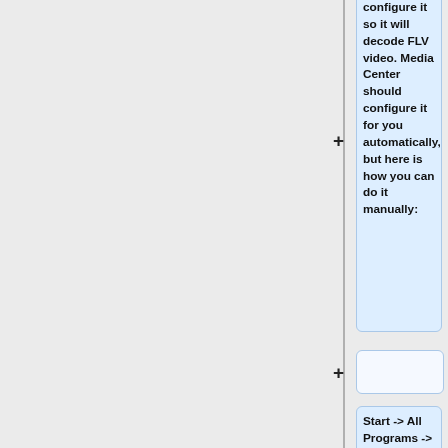configure it so it will decode FLV video. Media Center should configure it for you automatically, but here is how you can do it manually:
Start -> All Programs -> FFDShow (or Combined Community Codec Pack) -> FFDShow Video Decoder Configuration.
Choose "Codecs" from the top of the left panel. On the right panel, find FLV1 in the first column ("Format"),